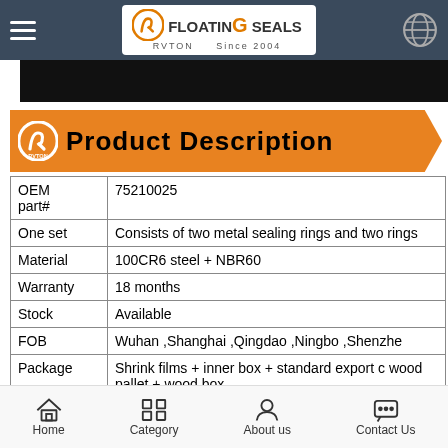RVTON Floating G Seals Since 2004
[Figure (logo): Black banner image at top of product page]
Product Description
| Field | Value |
| --- | --- |
| OEM part# | 75210025 |
| One set | Consists of two metal sealing rings and two rings |
| Material | 100CR6 steel + NBR60 |
| Warranty | 18 months |
| Stock | Available |
| FOB | Wuhan ,Shanghai ,Qingdao ,Ningbo ,Shenzhe |
| Package | Shrink films + inner box + standard export c wood pallet + wood box |
| Application | Constuction machinery ,farm machinery ,coal machinery |
Home  Category  About us  Contact Us